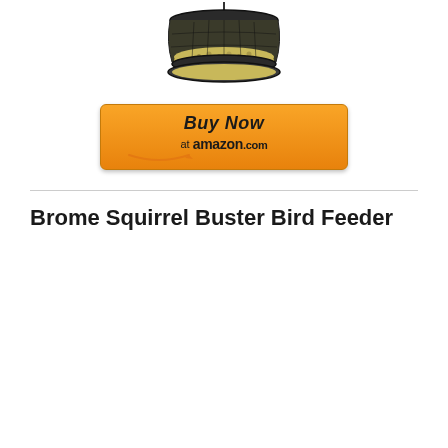[Figure (photo): A bird feeder with a mesh/wire basket tray filled with seeds, partially visible at the top of the page]
[Figure (other): Buy Now at amazon.com orange button with Amazon smile logo]
Brome Squirrel Buster Bird Feeder